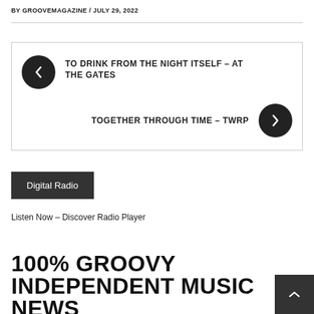BY GROOVEMAGAZINE / JULY 29, 2022
TO DRINK FROM THE NIGHT ITSELF - AT THE GATES
TOGETHER THROUGH TIME - TWRP
Digital Radio
Listen Now – Discover Radio Player
100% GROOVY INDEPENDENT MUSIC NEWS